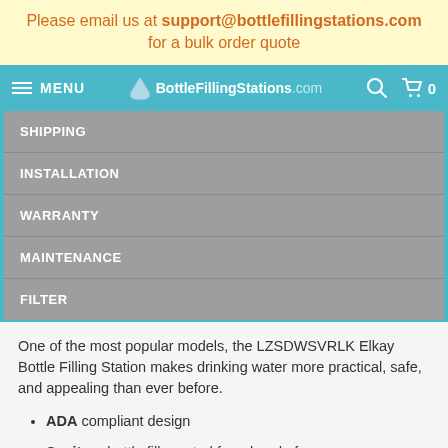Please email us at support@bottlefillingstations.com for a bulk order quote
MENU | BottleFillingStations.com
SHIPPING
INSTALLATION
WARRANTY
MAINTENANCE
FILTER
One of the most popular models, the LZSDWSVRLK Elkay Bottle Filling Station makes drinking water more practical, safe, and appealing than ever before.
ADA compliant design
Sanitary bottle fill created from hands-free sensor activation and recessed spout with 20 second auto shut-off system.
Filtered with 3000 gallon capacity WaterSentry